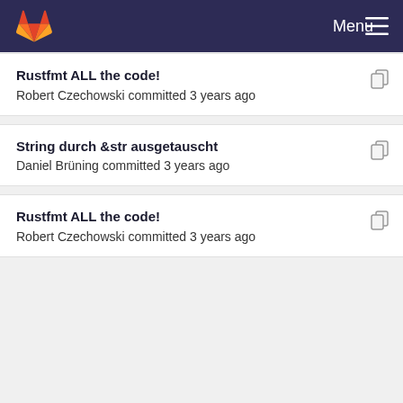Menu
Rustfmt ALL the code!
Robert Czechowski committed 3 years ago
String durch &str ausgetauscht
Daniel Brüning committed 3 years ago
Rustfmt ALL the code!
Robert Czechowski committed 3 years ago
Make 'login' a based template in theme 'jwinf' for b...
Robert Czechowski committed 2 years ago
Template jwinf: Make contest.hbs a rebased templ...
Robert Czechowski committed 2 years ago
Make 'login' a based template in theme 'jwinf' for b...
Robert Czechowski committed 2 years ago